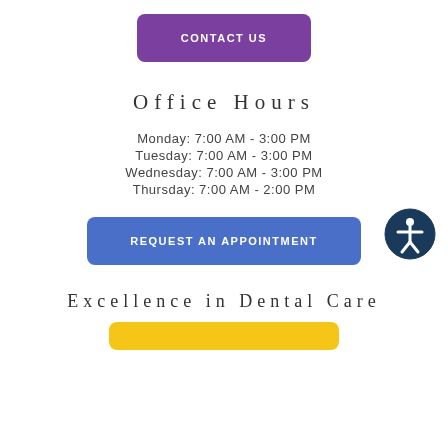CONTACT US
Office Hours
Monday: 7:00 AM - 3:00 PM
Tuesday: 7:00 AM - 3:00 PM
Wednesday: 7:00 AM - 3:00 PM
Thursday: 7:00 AM - 2:00 PM
REQUEST AN APPOINTMENT
Excellence in Dental Care